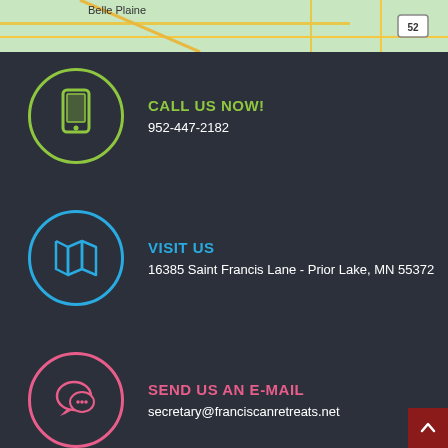[Figure (map): Partial map strip showing road network near Belle Plaine, MN with route 52 marker]
CALL US NOW!
952-447-2182
VISIT US
16385 Saint Francis Lane - Prior Lake, MN 55372
SEND US AN E-MAIL
secretary@franciscanretreats.net